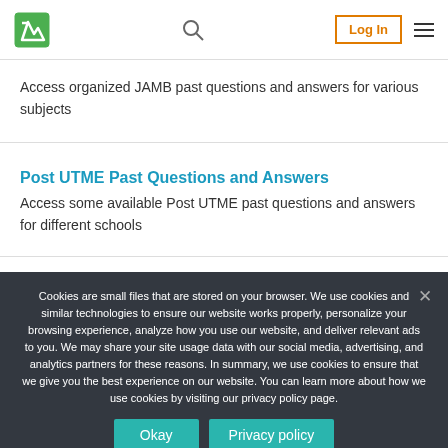Log In
Access organized JAMB past questions and answers for various subjects
Post UTME Past Questions and Answers
Access some available Post UTME past questions and answers for different schools
Cookies are small files that are stored on your browser. We use cookies and similar technologies to ensure our website works properly, personalize your browsing experience, analyze how you use our website, and deliver relevant ads to you. We may share your site usage data with our social media, advertising, and analytics partners for these reasons. In summary, we use cookies to ensure that we give you the best experience on our website. You can learn more about how we use cookies by visiting our privacy policy page.
Okay | Privacy policy